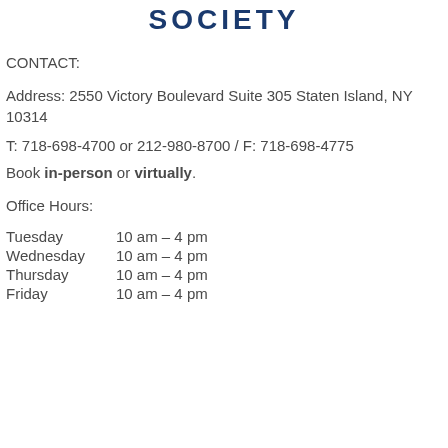SOCIETY
CONTACT:
Address: 2550 Victory Boulevard Suite 305 Staten Island, NY 10314
T: 718-698-4700 or 212-980-8700 / F: 718-698-4775
Book in-person or virtually.
Office Hours:
Tuesday      10 am – 4 pm
Wednesday  10 am – 4 pm
Thursday     10 am – 4 pm
Friday          10 am – 4 pm